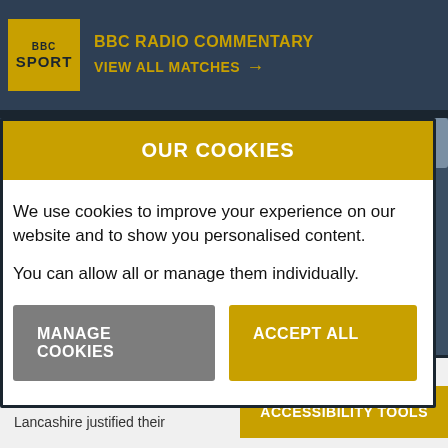BBC RADIO COMMENTARY  VIEW ALL MATCHES →
OUR COOKIES
We use cookies to improve your experience on our website and to show you personalised content.
You can allow all or manage them individually.
MANAGE COOKIES
ACCEPT ALL
Lancashire 427 & 39/3 - 2
Lancashire justified their
ACCESSIBILITY TOOLS